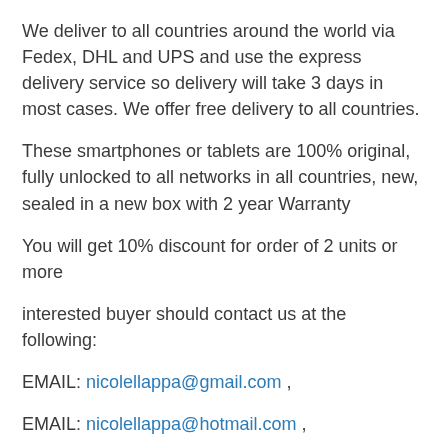We deliver to all countries around the world via Fedex, DHL and UPS and use the express delivery service so delivery will take 3 days in most cases. We offer free delivery to all countries.
These smartphones or tablets are 100% original, fully unlocked to all networks in all countries, new, sealed in a new box with 2 year Warranty
You will get 10% discount for order of 2 units or more
interested buyer should contact us at the following:
EMAIL: nicolellappa@gmail.com ,
EMAIL: nicolellappa@hotmail.com ,
Whatsapp Chat : +27837724253 ,
Call or WhatsApp : +27837724253
Apple iPhone XS 64GB ==== 400 EUR ,
Apple iPhone XS 256GB ==== 430 EUR ,
Apple iPhone XS 512GB ==== 470 EUR ,